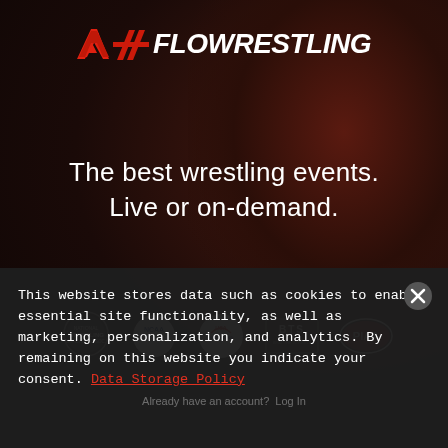[Figure (logo): Flowrestling logo with red chevron/arrow icon and white bold italic text FLOWRESTLING]
The best wrestling events.
Live or on-demand.
[Figure (logo): Row of partner/sponsor logos: Wrestling organization circle logo, NCAA logo, USA Wrestling eagle logo, BTS logo, PIAA oval logo]
This website stores data such as cookies to enable essential site functionality, as well as marketing, personalization, and analytics. By remaining on this website you indicate your consent. Data Storage Policy
Already have an account? Log In